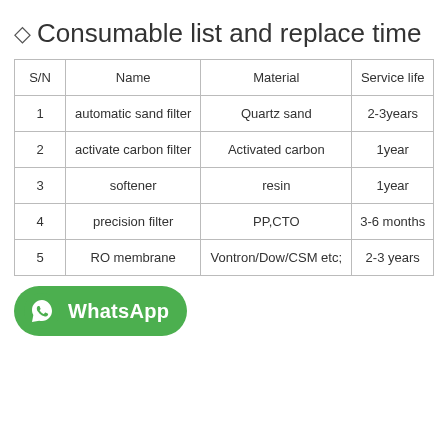◇ Consumable list and replace time
| S/N | Name | Material | Service life |
| --- | --- | --- | --- |
| 1 | automatic sand filter | Quartz sand | 2-3years |
| 2 | activate carbon filter | Activated carbon | 1year |
| 3 | softener | resin | 1year |
| 4 | precision filter | PP,CTO | 3-6 months |
| 5 | RO membrane | Vontron/Dow/CSM etc; | 2-3 years |
[Figure (logo): WhatsApp button with phone icon and text WhatsApp on green rounded background]